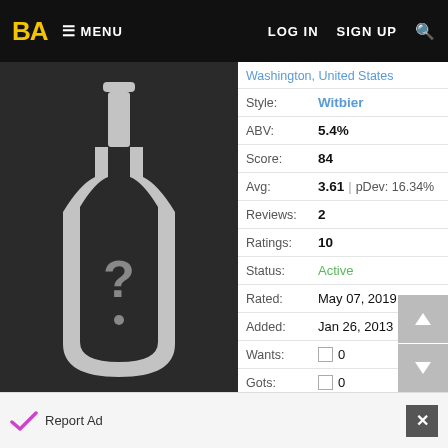BA MENU | LOG IN  SIGN UP  🔍
Washington, United States
[Figure (photo): Beer bottle silhouette placeholder image on dark background with question mark]
| Field | Value |
| --- | --- |
| Style: | Witbier |
| ABV: | 5.4% |
| Score: | 84 |
| Avg: | 3.61 | pDev: 16.34% |
| Reviews: | 2 |
| Ratings: | 10 |
| Status: | Active |
| Rated: | May 07, 2019 |
| Added: | Jan 26, 2013 |
| Wants: | ☐ 0 |
| Gots: | ☐ 0 |
Report Ad